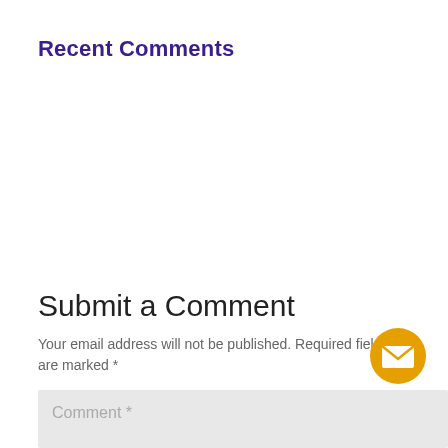Recent Comments
Submit a Comment
Your email address will not be published. Required fields are marked *
Comment *